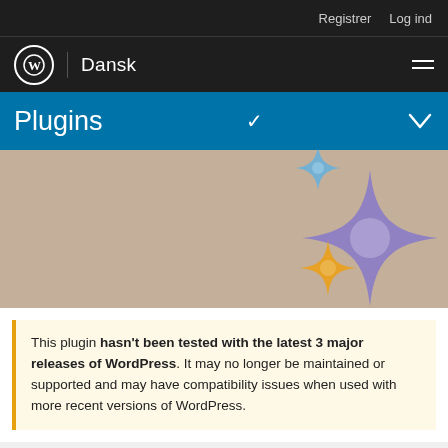Registrer   Log ind
WordPress | Dansk
Plugins
[Figure (illustration): Beige/tan hero banner with three sparkle/star emoji icons: one small blue sparkle top-center-right, one large purple 4-pointed star center-right, one small orange sparkle bottom-center-right]
This plugin hasn't been tested with the latest 3 major releases of WordPress. It may no longer be maintained or supported and may have compatibility issues when used with more recent versions of WordPress.